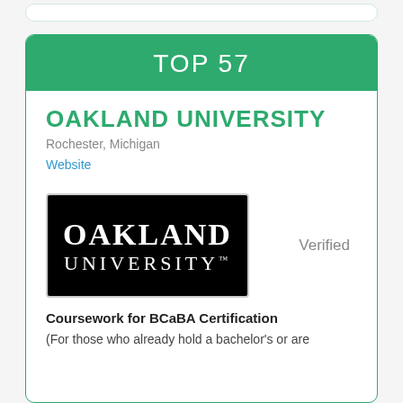TOP 57
OAKLAND UNIVERSITY
Rochester, Michigan
Website
[Figure (logo): Oakland University logo — white text on black background reading OAKLAND UNIVERSITY with trademark symbol]
Verified
Coursework for BCaBA Certification
(For those who already hold a bachelor's or are